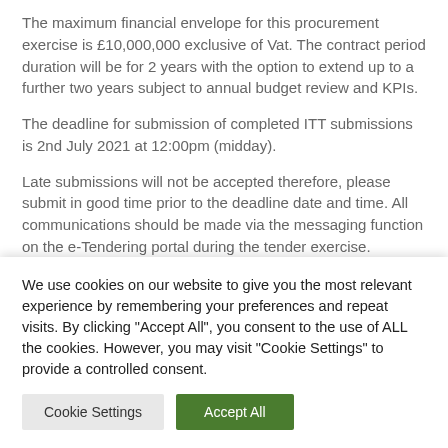The maximum financial envelope for this procurement exercise is £10,000,000 exclusive of Vat. The contract period duration will be for 2 years with the option to extend up to a further two years subject to annual budget review and KPIs.
The deadline for submission of completed ITT submissions is 2nd July 2021 at 12:00pm (midday).
Late submissions will not be accepted therefore, please submit in good time prior to the deadline date and time. All communications should be made via the messaging function on the e-Tendering portal during the tender exercise.
We use cookies on our website to give you the most relevant experience by remembering your preferences and repeat visits. By clicking "Accept All", you consent to the use of ALL the cookies. However, you may visit "Cookie Settings" to provide a controlled consent.